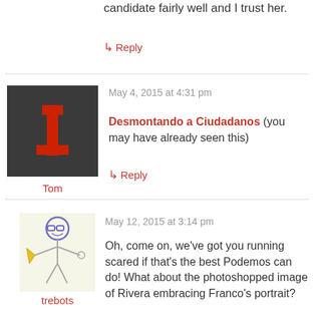candidate fairly well and I trust her.
↳ Reply
May 4, 2015 at 4:31 pm
[Figure (logo): Tumblr-style logo with red 't' on dark grey background]
Tom
Desmontando a Ciudadanos (you may have already seen this)
↳ Reply
May 12, 2015 at 3:14 pm
[Figure (illustration): Hand-drawn illustration of a cartoon character with glasses holding objects]
trebots
Oh, come on, we've got you running scared if that's the best Podemos can do! What about the photoshopped image of Rivera embracing Franco's portrait?